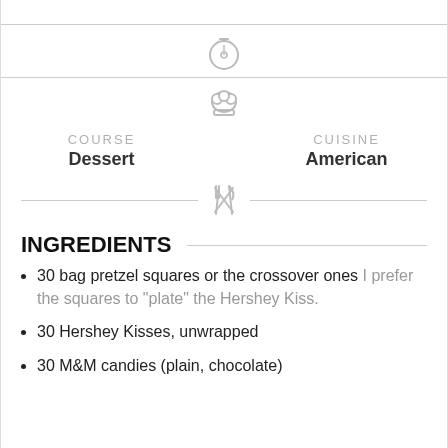[Figure (illustration): Timer/clock icon and chef hat icon centered at top of page]
COURSE
Dessert
CUISINE
American
[Figure (illustration): Crossed fork and knife icon centered between horizontal divider lines]
INGREDIENTS
30 bag pretzel squares or the crossover ones I prefer the squares to "plate" the Hershey Kiss.
30 Hershey Kisses, unwrapped
30 M&M candies (plain, chocolate)